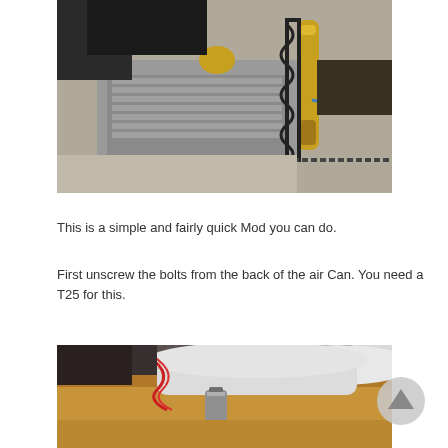[Figure (photo): Motorcycle engine and suspension with golden shock absorber visible, engine casing exposed, blue wiring visible on the right side]
This is a simple and fairly quick Mod you can do.
First unscrew the bolts from the back of the air Can. You need a T25 for this.
[Figure (photo): Close-up of items in a cardboard box including wires and a small cylindrical component]